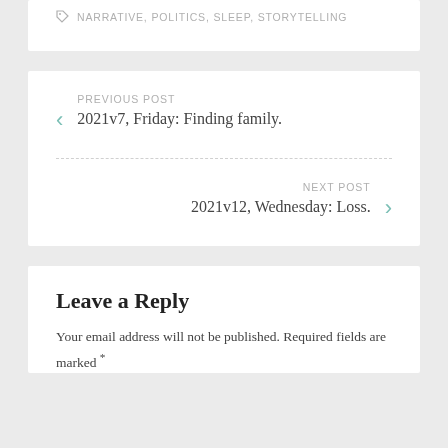NARRATIVE, POLITICS, SLEEP, STORYTELLING
< PREVIOUS POST
2021v7, Friday: Finding family.
NEXT POST >
2021v12, Wednesday: Loss.
Leave a Reply
Your email address will not be published. Required fields are marked *